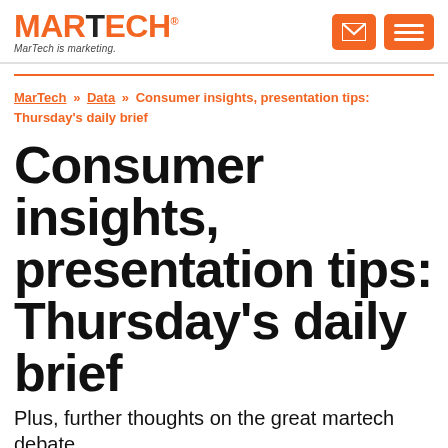MARTECH — MarTech is marketing.
MarTech » Data » Consumer insights, presentation tips: Thursday's daily brief
Consumer insights, presentation tips: Thursday's daily brief
Plus, further thoughts on the great martech debate
Kathy Bushman on March 25, 2021 at 10:00 am | Reading time: 7